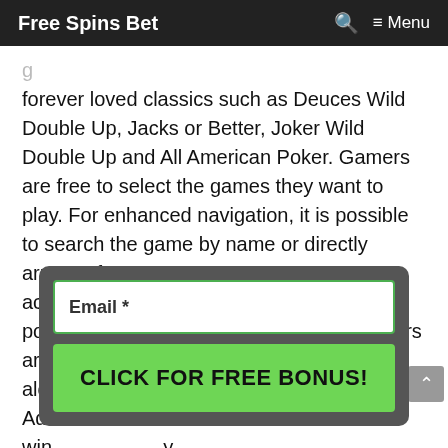Free Spins Bet   🔍   ≡ Menu
forever loved classics such as Deuces Wild Double Up, Jacks or Better, Joker Wild Double Up and All American Poker. Gamers are free to select the games they want to play. For enhanced navigation, it is possible to search the game by name or directly arrange for a category to sort out games according to different indicators, i.e. popularity, recently added and rating. Players are able to rate the games as they move along. Additionally, ...im win... ly gam... h stak...
[Figure (screenshot): Email input field with green border and a green CTA button reading CLICK FOR FREE BONUS!]
For...be